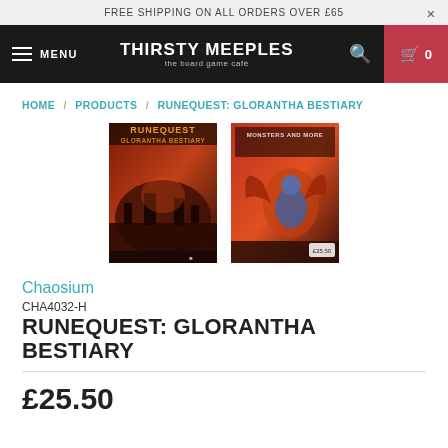FREE SHIPPING ON ALL ORDERS OVER £65
[Figure (screenshot): Thirsty Meeples – The Board Game Café navigation bar with hamburger menu, logo, search icon, and cart button showing 0 items]
HOME / PRODUCTS / RUNEQUEST: GLORANTHA BESTIARY
[Figure (photo): Two product images: front cover of RuneQuest: Glorantha Bestiary (dark red fantasy art) and back cover (fantasy creature art with red background)]
Chaosium
CHA4032-H
RUNEQUEST: GLORANTHA BESTIARY
£25.50